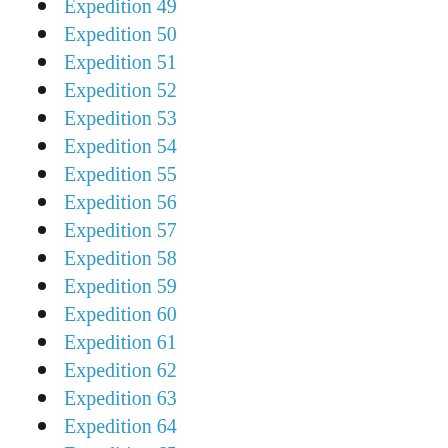Expedition 49
Expedition 50
Expedition 51
Expedition 52
Expedition 53
Expedition 54
Expedition 55
Expedition 56
Expedition 57
Expedition 58
Expedition 59
Expedition 60
Expedition 61
Expedition 62
Expedition 63
Expedition 64
Expedition 65